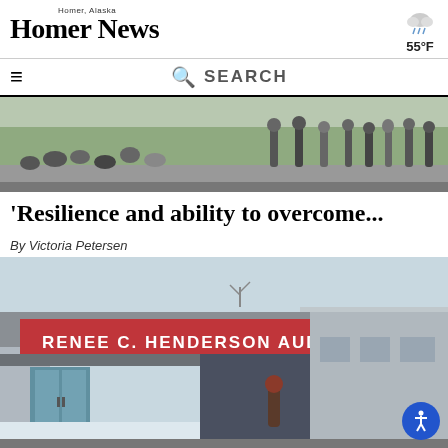Homer News — Homer, Alaska
55°F
[Figure (photo): Navigation bar with hamburger menu icon and search bar]
[Figure (photo): Crowd of people sitting and standing outdoors on a sunny day, viewed from elevated angle]
'Resilience and ability to overcome...
By Victoria Petersen
[Figure (photo): Exterior of Renee C. Henderson Auditorium building entrance with red sign, gray canopy, glass doors, and a person standing outside in winter]